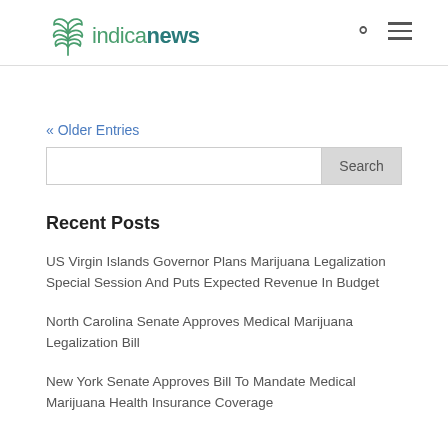indicanews
« Older Entries
Search
Recent Posts
US Virgin Islands Governor Plans Marijuana Legalization Special Session And Puts Expected Revenue In Budget
North Carolina Senate Approves Medical Marijuana Legalization Bill
New York Senate Approves Bill To Mandate Medical Marijuana Health Insurance Coverage